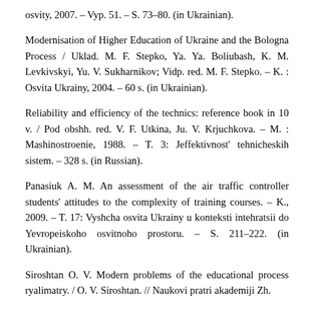osvity, 2007. – Vyp. 51. – S. 73–80. (in Ukrainian).
Modernisation of Higher Education of Ukraine and the Bologna Process / Uklad. M. F. Stepko, Ya. Ya. Boliubash, K. M. Levkivskyi, Yu. V. Sukharnikov; Vidp. red. M. F. Stepko. – K. : Osvita Ukrainy, 2004. – 60 s. (in Ukrainian).
Reliability and efficiency of the technics: reference book in 10 v. / Pod obshh. red. V. F. Utkina, Ju. V. Krjuchkova. – M. : Mashinostroenie, 1988. – T. 3: Jeffektivnost' tehnicheskih sistem. – 328 s. (in Russian).
Panasiuk A. M. An assessment of the air traffic controller students' attitudes to the complexity of training courses. – K., 2009. – T. 17: Vyshcha osvita Ukrainy u konteksti intehratsii do Yevropeiskoho osvitnoho prostoru. – S. 211–222. (in Ukrainian).
Siroshtan O. V. Modern problems of the educational process ryalimatry. / O. V. Siroshtan. // Naukovi pratri akademiji Zh.